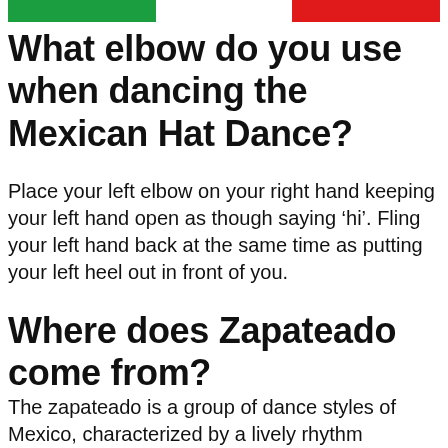[Figure (other): Two colored horizontal bars at top: green bar on left, red bar on right]
What elbow do you use when dancing the Mexican Hat Dance?
Place your left elbow on your right hand keeping your left hand open as though saying ‘hi’. Fling your left hand back at the same time as putting your left heel out in front of you.
Where does Zapateado come from?
The zapateado is a group of dance styles of Mexico, characterized by a lively rhythm punctuated by the striking of the dancer’s